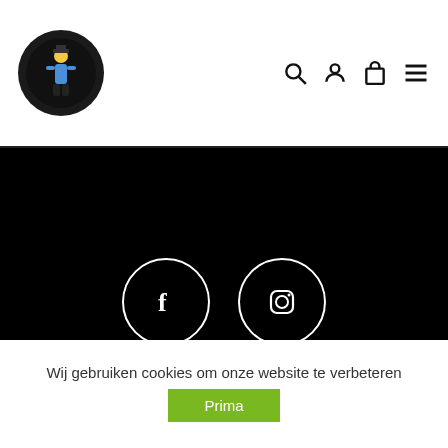UK Fashion logo, search, account, cart, menu icons
[Figure (logo): Circular logo with stylized character on dark background]
[Figure (illustration): Facebook icon circle and Instagram icon circle on black background]
OVER UK FASHION
LEVERING
CONTACT
ALGEMENE VOORWAARDEN
PRIVACY
Wij gebruiken cookies om onze website te verbeteren
Prima